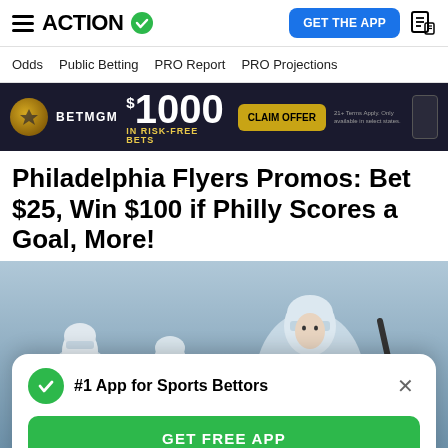ACTION
Odds  Public Betting  PRO Report  PRO Projections
[Figure (other): BetMGM advertisement banner: $1000 IN RISK-FREE BETS, CLAIM OFFER]
Philadelphia Flyers Promos: Bet $25, Win $100 if Philly Scores a Goal, More!
[Figure (photo): Philadelphia Flyers hockey players on ice bench wearing white helmets and orange accents]
#1 App for Sports Bettors
GET FREE APP